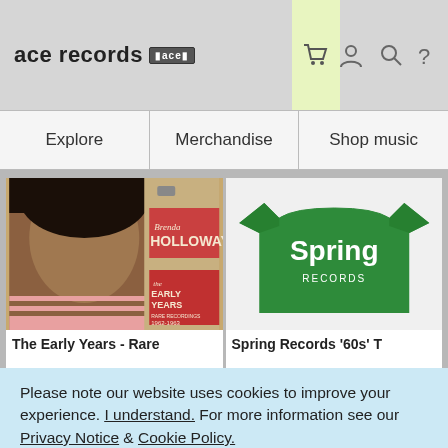ace records [ace logo]
Explore
Merchandise
Shop music
[Figure (photo): Album cover for Brenda Holloway - The Early Years, Rare Recordings 1962-1963]
The Early Years - Rare
[Figure (photo): Green Spring Records '60s' T-shirt]
Spring Records '60s' T
Please note our website uses cookies to improve your experience. I understand. For more information see our Privacy Notice & Cookie Policy.